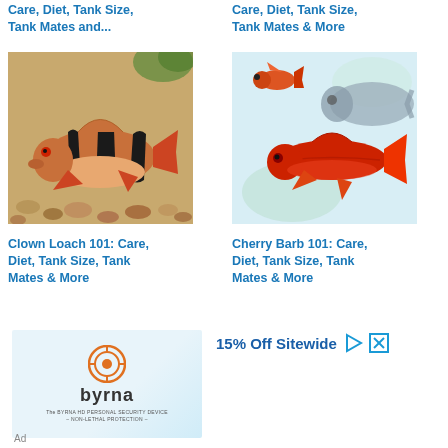Care, Diet, Tank Size, Tank Mates and...
Care, Diet, Tank Size, Tank Mates & More
[Figure (photo): Clown loach fish on gravel substrate in aquarium]
[Figure (photo): Cherry barb fish swimming in aquarium]
Clown Loach 101: Care, Diet, Tank Size, Tank Mates & More
Cherry Barb 101: Care, Diet, Tank Size, Tank Mates & More
[Figure (photo): Byrna advertisement - 15% Off Sitewide. Shows Byrna HD personal security device logo.]
Ad